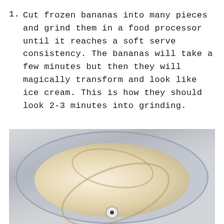Cut frozen bananas into many pieces and grind them in a food processor until it reaches a soft serve consistency. The bananas will take a few minutes but then they will magically transform and look like ice cream. This is how they should look 2-3 minutes into grinding.
[Figure (photo): Top-down view of a food processor bowl containing blended frozen bananas that have reached a soft-serve ice cream consistency, showing a creamy pale yellow swirled mixture around the central blade hub.]